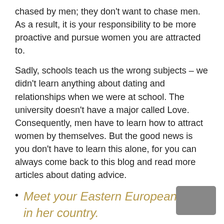chased by men; they don’t want to chase men. As a result, it is your responsibility to be more proactive and pursue women you are attracted to.
Sadly, schools teach us the wrong subjects – we didn’t learn anything about dating and relationships when we were at school. The university doesn’t have a major called Love. Consequently, men have to learn how to attract women by themselves. But the good news is you don’t have to learn this alone, for you can always come back to this blog and read more articles about dating advice.
Meet your Eastern European lady in her country.
In order to show your genuine interest in her, you’d better go to her country and visit her in person. This will make your competitors irrelevant